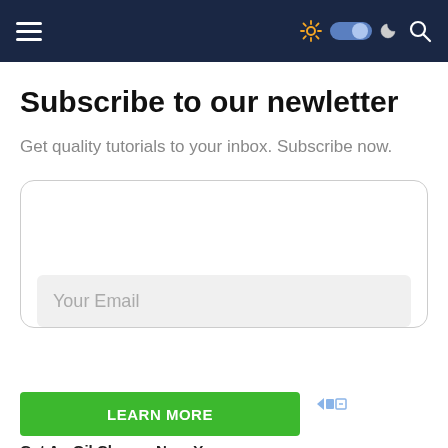Navigation bar with hamburger menu and icons
Subscribe to our newletter
Get quality tutorials to your inbox. Subscribe now.
[Figure (other): Email subscription form card with 'Your Email' input field]
[Figure (other): Advertisement banner with green 'LEARN MORE' button and 'Get An Oil Change Near You' text]
Ad